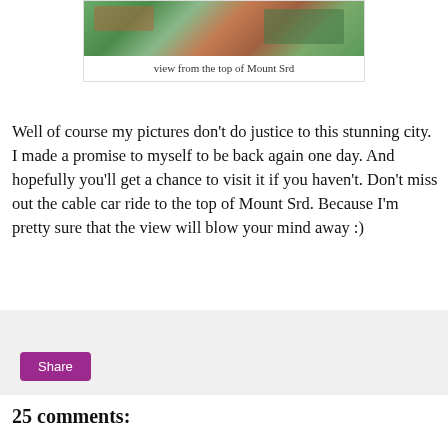[Figure (photo): Aerial photo showing a coastal town with terracotta rooftops and green hillside vineyards — view from the top of Mount Srd]
view from the top of Mount Srd
Well of course my pictures don't do justice to this stunning city. I made a promise to myself to be back again one day. And hopefully you'll get a chance to visit it if you haven't. Don't miss out the cable car ride to the top of Mount Srd. Because I'm pretty sure that the view will blow your mind away :)
[Figure (other): Share button widget area with light gray background]
25 comments: